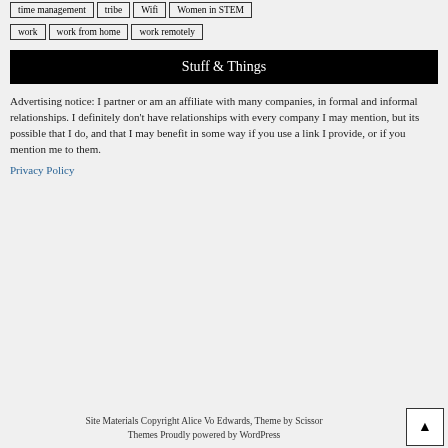time management | tribe | Wifi | Women in STEM
work | work from home | work remotely
Stuff & Things
Advertising notice: I partner or am an affiliate with many companies, in formal and informal relationships. I definitely don't have relationships with every company I may mention, but its possible that I do, and that I may benefit in some way if you use a link I provide, or if you mention me to them.
Privacy Policy
Site Materials Copyright Alice Vo Edwards, Theme by Scissor Themes Proudly powered by WordPress